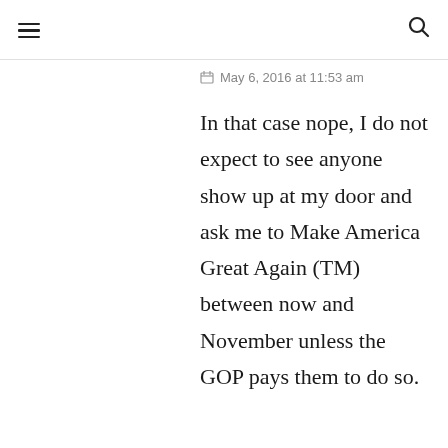≡  🔍
May 6, 2016 at 11:53 am
In that case nope, I do not expect to see anyone show up at my door and ask me to Make America Great Again (TM) between now and November unless the GOP pays them to do so.